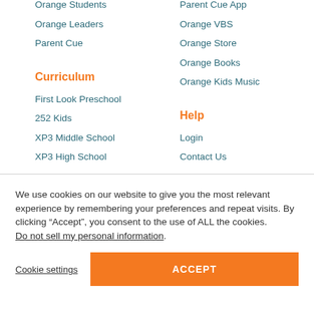Orange Students
Parent Cue App
Orange Leaders
Orange VBS
Parent Cue
Orange Store
Orange Books
Orange Kids Music
Curriculum
First Look Preschool
Help
252 Kids
Login
XP3 Middle School
Contact Us
XP3 High School
We use cookies on our website to give you the most relevant experience by remembering your preferences and repeat visits. By clicking “Accept”, you consent to the use of ALL the cookies. Do not sell my personal information.
Cookie settings
ACCEPT